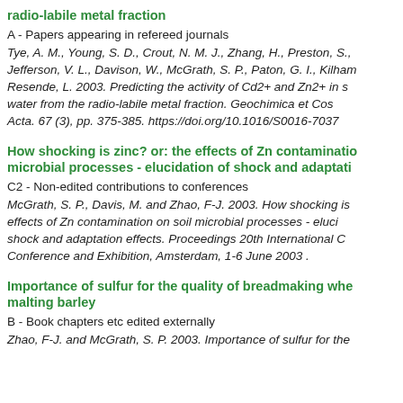radio-labile metal fraction
A - Papers appearing in refereed journals
Tye, A. M., Young, S. D., Crout, N. M. J., Zhang, H., Preston, S., Jefferson, V. L., Davison, W., McGrath, S. P., Paton, G. I., Kilham, Resende, L. 2003. Predicting the activity of Cd2+ and Zn2+ in s water from the radio-labile metal fraction. Geochimica et Cos Acta. 67 (3), pp. 375-385. https://doi.org/10.1016/S0016-7037
How shocking is zinc? or: the effects of Zn contamination on microbial processes - elucidation of shock and adaptation effects
C2 - Non-edited contributions to conferences
McGrath, S. P., Davis, M. and Zhao, F-J. 2003. How shocking is effects of Zn contamination on soil microbial processes - eluci shock and adaptation effects. Proceedings 20th International C Conference and Exhibition, Amsterdam, 1-6 June 2003 .
Importance of sulfur for the quality of breadmaking whe malting barley
B - Book chapters etc edited externally
Zhao, F-J. and McGrath, S. P. 2003. Importance of sulfur for the